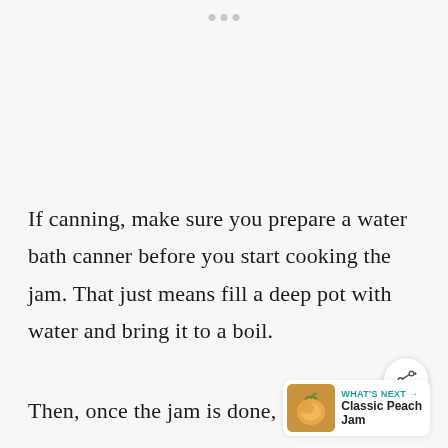If canning, make sure you prepare a water bath canner before you start cooking the jam. That just means fill a deep pot with water and bring it to a boil.
Then, once the jam is done, fill clean